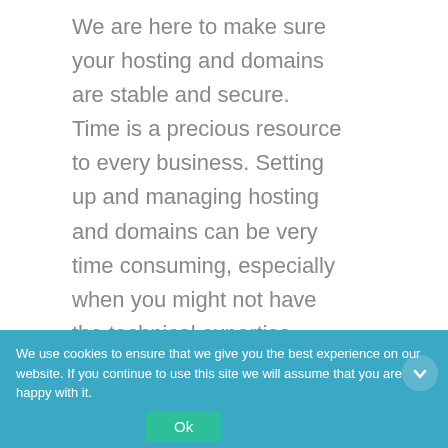We are here to make sure your hosting and domains are stable and secure. Time is a precious resource to every business. Setting up and managing hosting and domains can be very time consuming, especially when you might not have the technical expertise.
What you get when choosing Listen...
Get more f... ey with a comprehensive ...aged service.
We use cookies to ensure that we give you the best experience on our website. If you continue to use this site we will assume that you are happy with it.